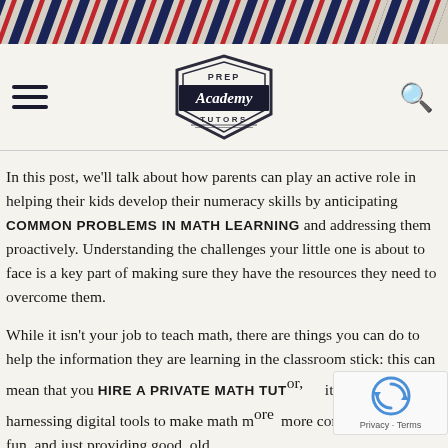[Figure (illustration): Diagonal red, white, and navy stripe pattern banner across full width top of page]
[Figure (logo): Prep Academy Tutors shield/badge logo with script 'Academy' text on black banner, 'PREP' above and 'TUTORS' below]
In this post, we'll talk about how parents can play an active role in helping their kids develop their numeracy skills by anticipating COMMON PROBLEMS IN MATH LEARNING and addressing them proactively. Understanding the challenges your little one is about to face is a key part of making sure they have the resources they need to overcome them.
While it isn't your job to teach math, there are things you can do to help the information they are learning in the classroom stick: this can mean that you HIRE A PRIVATE MATH TUTOR, it can also involve harnessing digital tools to make math more comprehensible and fun, and just providing good, old